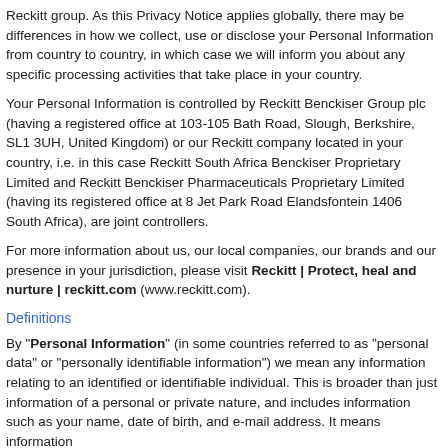Reckitt group. As this Privacy Notice applies globally, there may be differences in how we collect, use or disclose your Personal Information from country to country, in which case we will inform you about any specific processing activities that take place in your country.
Your Personal Information is controlled by Reckitt Benckiser Group plc (having a registered office at 103-105 Bath Road, Slough, Berkshire, SL1 3UH, United Kingdom) or our Reckitt company located in your country, i.e. in this case Reckitt South Africa Benckiser Proprietary Limited and Reckitt Benckiser Pharmaceuticals Proprietary Limited (having its registered office at 8 Jet Park Road Elandsfontein 1406 South Africa), are joint controllers.
For more information about us, our local companies, our brands and our presence in your jurisdiction, please visit Reckitt | Protect, heal and nurture | reckitt.com (www.reckitt.com).
Definitions
By "Personal Information" (in some countries referred to as "personal data" or "personally identifiable information") we mean any information relating to an identified or identifiable individual. This is broader than just information of a personal or private nature, and includes information such as your name, date of birth, and e-mail address. It means information